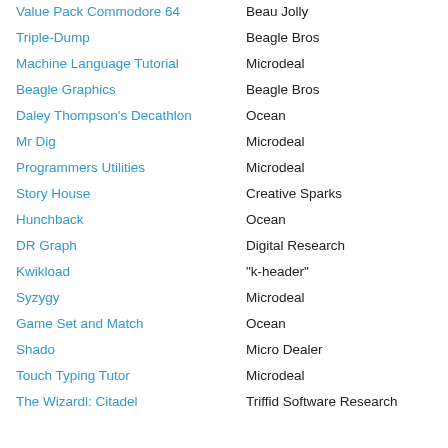Value Pack Commodore 64 | Beau Jolly
Triple-Dump | Beagle Bros
Machine Language Tutorial | Microdeal
Beagle Graphics | Beagle Bros
Daley Thompson's Decathlon | Ocean
Mr Dig | Microdeal
Programmers Utilities | Microdeal
Story House | Creative Sparks
Hunchback | Ocean
DR Graph | Digital Research
Kwikload | "k-header"
Syzygy | Microdeal
Game Set and Match | Ocean
Shado | Micro Dealer
Touch Typing Tutor | Microdeal
The Wizardl: Citadel | Triffid Software Research